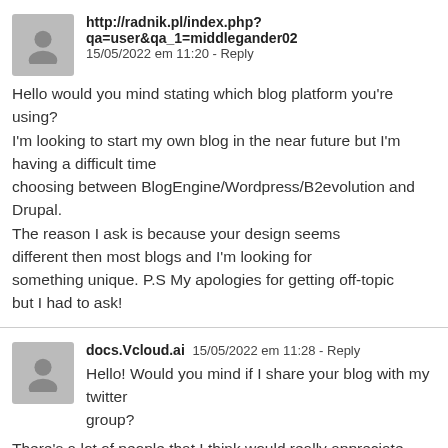http://radnik.pl/index.php?qa=user&qa_1=middlegander02
15/05/2022 em 11:20 - Reply

Hello would you mind stating which blog platform you're using?
I'm looking to start my own blog in the near future but I'm having a difficult time
choosing between BlogEngine/Wordpress/B2evolution and Drupal. The reason I ask is because your design seems
different then most blogs and I'm looking for
something unique. P.S My apologies for getting off-topic
but I had to ask!
docs.Vcloud.ai  15/05/2022 em 11:28 - Reply

Hello! Would you mind if I share your blog with my twitter group?
There's a lot of people that I think would really appreciate your content.
Please let me know. Thanks
Ir para o topo